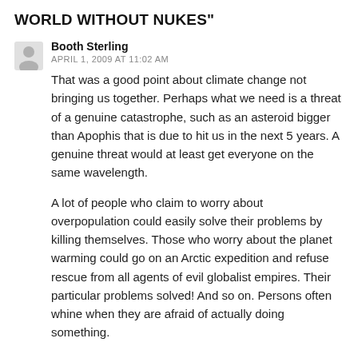WORLD WITHOUT NUKES"
Booth Sterling
APRIL 1, 2009 AT 11:02 AM
That was a good point about climate change not bringing us together. Perhaps what we need is a threat of a genuine catastrophe, such as an asteroid bigger than Apophis that is due to hit us in the next 5 years. A genuine threat would at least get everyone on the same wavelength.
A lot of people who claim to worry about overpopulation could easily solve their problems by killing themselves. Those who worry about the planet warming could go on an Arctic expedition and refuse rescue from all agents of evil globalist empires. Their particular problems solved! And so on. Persons often whine when they are afraid of actually doing something.